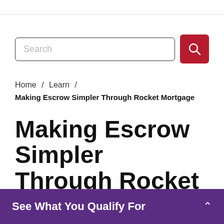Search
Home / Learn /
Making Escrow Simpler Through Rocket Mortgage
Making Escrow Simpler Through Rocket®
See What You Qualify For